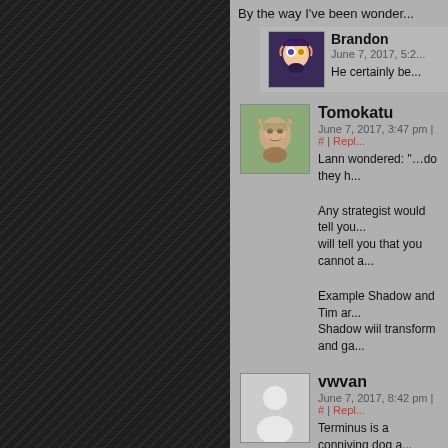By the way I've been wonder...
Brandon
June 7, 2017, 5:2...
He certainly be...
Tomokatu
June 7, 2017, 3:47 pm | # | Repl...
Lann wondered: "…do they h...
Any strategist would tell you... will tell you that you cannot a...
Example Shadow and Tim ar... Shadow wiil transform and ga...
vwvan
June 7, 2017, 8:42 pm | # | Repl...
Terminus is a conniving dog a...
Rick B.
June 7, 2017, 11:41 pm | # | Repl...
I don't know if this has been...